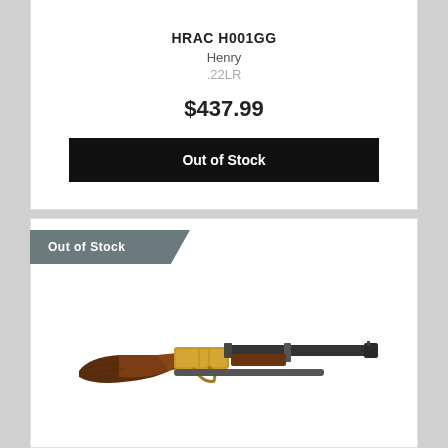HRAC H001GG
Henry
.22LR
$437.99
Out of Stock
Out of Stock
[Figure (photo): Lever-action rifle with wooden stock and brass/gold receiver, black barrel]